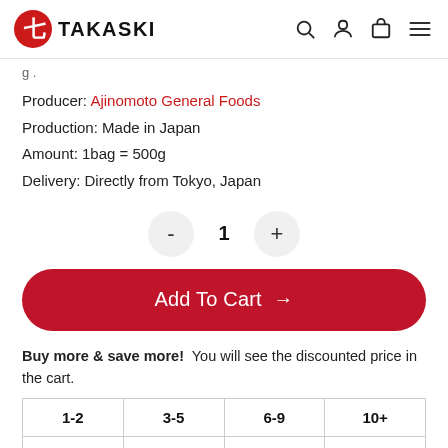TAKASKI
Producer: Ajinomoto General Foods
Production: Made in Japan
Amount: 1bag = 500g
Delivery: Directly from Tokyo, Japan
- 1 +
Add To Cart →
Buy more & save more! You will see the discounted price in the cart.
| 1-2 | 3-5 | 6-9 | 10+ |
| --- | --- | --- | --- |
| $ 14.20 | $ 13.77 | $ 13.35 | $ 12.78 |